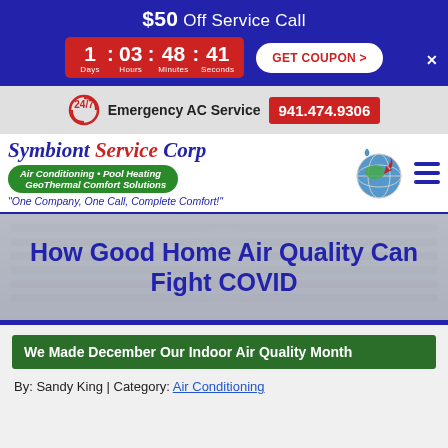$50 Off Service Call
1 Days : 03 Hours : 48 Minutes : 41 Seconds | GET COUPON >
24/7 Emergency AC Service 941.474.9306
[Figure (logo): Symbiont Service Corp logo with globe icon, Air Conditioning Pool Heating GeoThermal Comfort Solutions, One Company, One Call, Complete Comfort!]
How Good Home Air Quality Can Fight COVID
We Made December Our Indoor Air Quality Month
By: Sandy King | Category: Air Conditioning